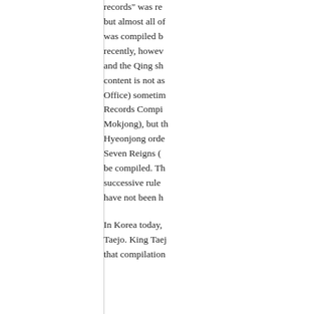records" was re... but almost all of... was compiled b... recently, howev... and the Qing sh... content is not as... Office) sometim... Records Compi... Mokjong), but th... Hyeonjong orde... Seven Reigns (... be compiled. Th... successive rule... have not been h...
In Korea today, ... Taejo. King Taej... that compilation...